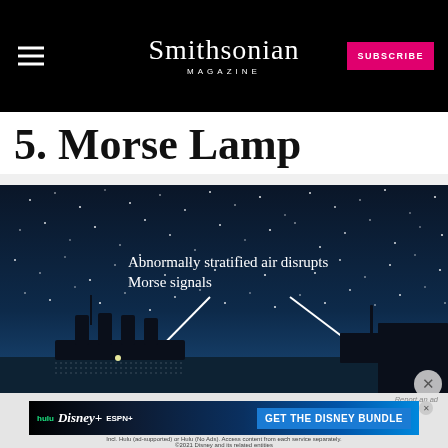Smithsonian MAGAZINE
5. Morse Lamp
[Figure (illustration): Night sky illustration showing two ships at sea with text annotation reading 'Abnormally stratified air disrupts Morse signals' and two white arrows pointing down to the ships]
[Figure (infographic): Disney Bundle advertisement banner featuring Hulu, Disney+, and ESPN+ logos with call to action 'GET THE DISNEY BUNDLE'. Disclaimer text: 'Incl. Hulu (ad-supported) or Hulu (No Ads). Access content from each service separately. ©2021 Disney and its related entities']